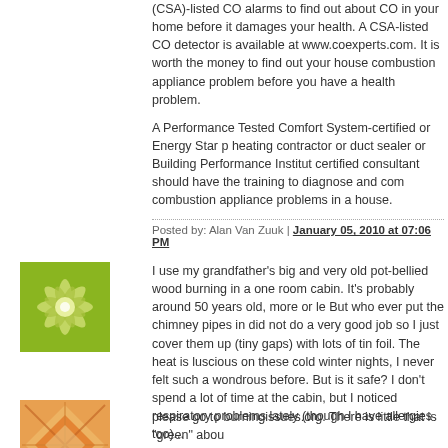(CSA)-listed CO alarms to find out about CO in your home before it damages your health. A CSA-listed CO detector is available at www.coexperts.com. It is worth the money to find out your house combustion appliance problem before you have a health problem.
A Performance Tested Comfort System-certified or Energy Star p heating contractor or duct sealer or Building Performance Institut certified consultant should have the training to diagnose and com combustion appliance problems in a house.
Posted by: Alan Van Zuuk | January 05, 2010 at 07:06 PM
[Figure (illustration): Green decorative flower/snowflake pattern avatar icon]
I use my grandfather's big and very old pot-bellied wood burning in a one room cabin. It's probably around 50 years old, more or le But who ever put the chimney pipes in did not do a very good job so I just cover them up (tiny gaps) with lots of tin foil. The heat is luscious on these cold winter nights, I never felt such a wondrous before. But is it safe? I don't spend a lot of time at the cabin, but I noticed respiratory problems lately (though I have allergies too)...
Posted by: Marsh Bates | January 05, 2010 at 07:46 PM
[Figure (illustration): Orange/yellow geometric abstract avatar icon]
please go to burningissues.org. There is little that is "green" abou